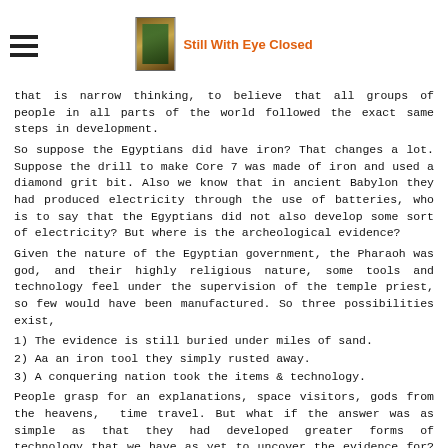Still With Eye Closed
that is narrow thinking, to believe that all groups of people in all parts of the world followed the exact same steps in development.
So suppose the Egyptians did have iron? That changes a lot. Suppose the drill to make Core 7 was made of iron and used a diamond grit bit. Also we know that in ancient Babylon they had produced electricity through the use of batteries, who is to say that the Egyptians did not also develop some sort of electricity? But where is the archeological evidence?
Given the nature of the Egyptian government, the Pharaoh was god, and their highly religious nature, some tools and technology feel under the supervision of the temple priest, so few would have been manufactured. So three possibilities exist,
1) The evidence is still buried under miles of sand.
2) Aa an iron tool they simply rusted away.
3) A conquering nation took the items & technology.
People grasp for an explanations, space visitors, gods from the heavens,  time travel. But what if the answer was as simple as that they had developed greater forms of technology that we have as yet to uncover the evidence for? Today we have MASS production. We don't just make 1 Skill saw milions are made. But when cost of production is high and no assembly lines in super factories exist, then only a very few "Skill saws" would be made, perhaps only one. That being the case it would fall under the supervision of temple priest and the priestly